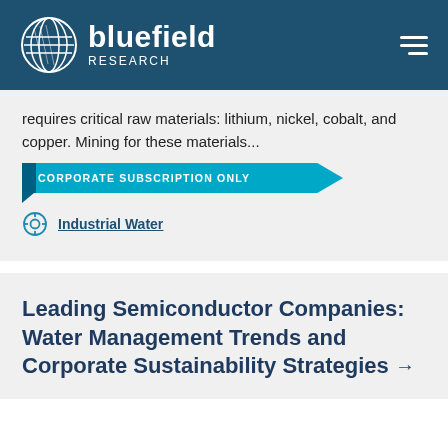[Figure (logo): Bluefield Research logo with circular globe icon and text 'bluefield RESEARCH' on dark teal header background]
requires critical raw materials: lithium, nickel, cobalt, and copper. Mining for these materials...
CORPORATE SUBSCRIPTION ONLY
Industrial Water
Leading Semiconductor Companies: Water Management Trends and Corporate Sustainability Strategies →